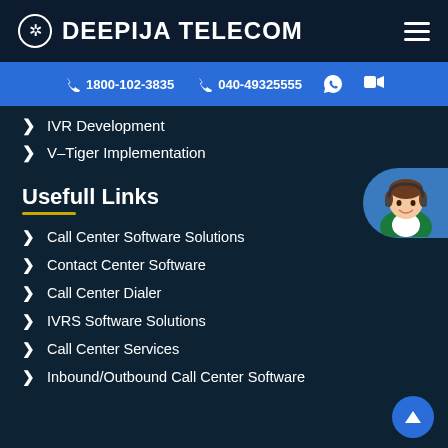DEEPIJA TELECOM
1800-102-3835   040-49325555
IVR Development
V-Tiger Implementation
Usefull Links
Call Center Software Solutions
Contact Center Software
Call Center Dialer
IVRS Software Solutions
Call Center Services
Inbound/Outbound Call Center Software
[Figure (illustration): Customer service representative chat avatar on right side]